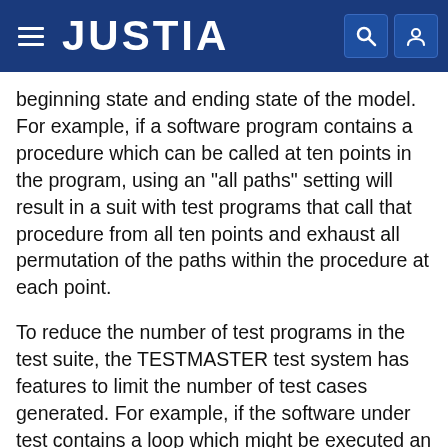JUSTIA
beginning state and ending state of the model. For example, if a software program contains a procedure which can be called at ten points in the program, using an "all paths" setting will result in a suit with test programs that call that procedure from all ten points and exhaust all permutation of the paths within the procedure at each point.
To reduce the number of test programs in the test suite, the TESTMASTER test system has features to limit the number of test cases generated. For example, if the software under test contains a loop which might be executed an indeterminate number of times, the test generator has mechanisms to limit these cycles.
The total number of test programs generated can also be reduced by setting the coverage level for the model.